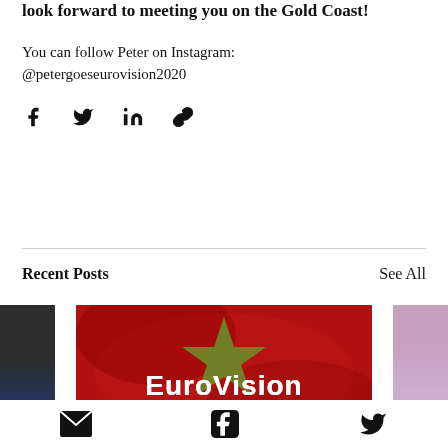Thank you for your time Peter and we look forward to meeting you on the Gold Coast!
You can follow Peter on Instagram: @petergoeseurovision2020
[Figure (infographic): Social share icons: Facebook, Twitter, LinkedIn, and a link/chain icon]
Recent Posts
See All
[Figure (photo): Eurovision Song Contest logo on red background with yellow-green star]
[Figure (infographic): Footer icons: envelope/email, Facebook, Twitter]